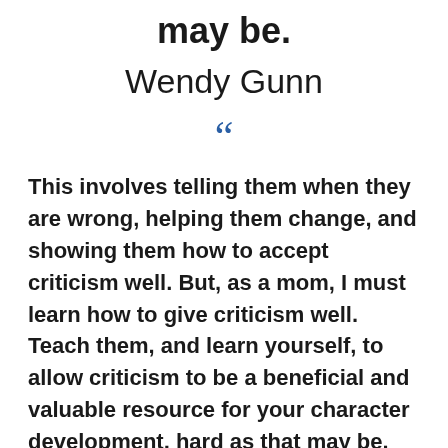may be.
Wendy Gunn
“
This involves telling them when they are wrong, helping them change, and showing them how to accept criticism well. But, as a mom, I must learn how to give criticism well. Teach them, and learn yourself, to allow criticism to be a beneficial and valuable resource for your character development, hard as that may be.